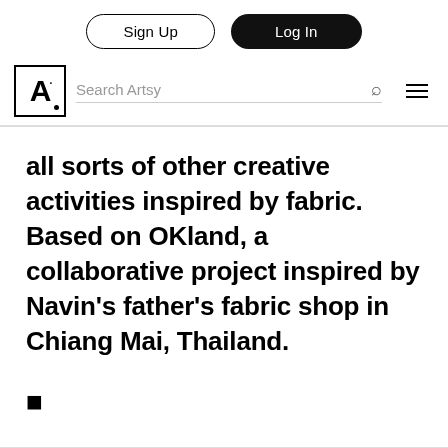Sign Up | Log In
A. Search Artsy
all sorts of other creative activities inspired by fabric. Based on OKland, a collaborative project inspired by Navin's father's fabric shop in Chiang Mai, Thailand.
■
Art Central